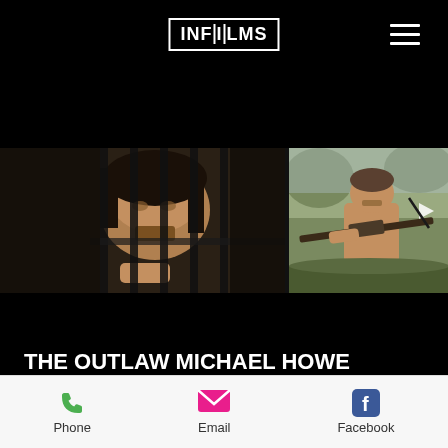INFILMS
[Figure (photo): Two film stills side by side: left shows a man with long hair behind prison bars looking down; right shows a man aiming a rifle outdoors]
THE OUTLAW MICHAEL HOWE
ABC Television  |  2013 |  85min
Phone  Email  Facebook